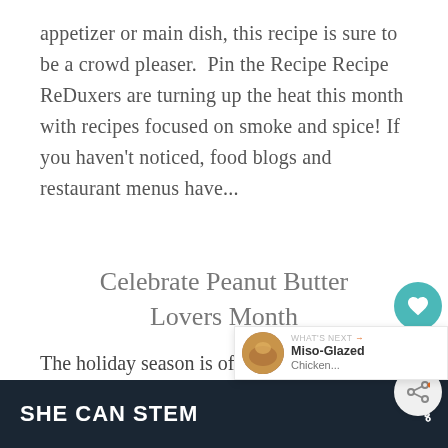appetizer or main dish, this recipe is sure to be a crowd pleaser.  Pin the Recipe Recipe ReDuxers are turning up the heat this month with recipes focused on smoke and spice! If you haven't noticed, food blogs and restaurant menus have...
Celebrate Peanut Butter Lovers Month
The holiday season is officially here, and along with Halloween, Thanksgiving, Hanukkah, and Christmas, we have...
[Figure (infographic): Floating action panel with teal heart/like button showing count of 1, and a share button]
[Figure (infographic): What's Next banner showing Miso-Glazed Chicken with small circular food photo]
SHE CAN STEM